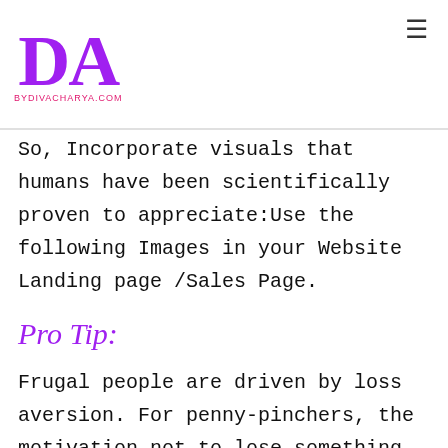DA BYDIVACHARYA.COM
So, Incorporate visuals that humans have been scientifically proven to appreciate:Use the following Images in your Website Landing page /Sales Page.
Pro Tip:
Frugal people are driven by loss aversion. For penny-pinchers, the motivation not to lose something is greater than the desire to gain